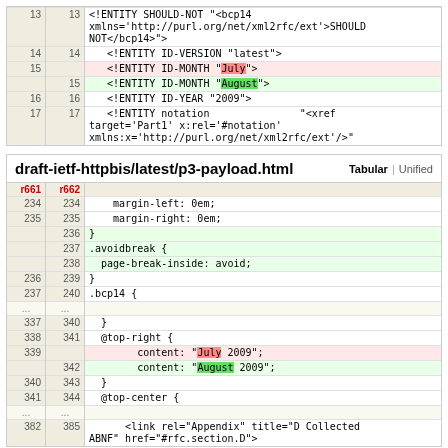| old | new | code |
| --- | --- | --- |
| 13 | 13 | <!ENTITY SHOULD-NOT "<bcp14\nxmlns='http://purl.org/net/xml2rfc/ext'>SHOULD NOT</bcp14>"> |
| 14 | 14 |    <!ENTITY ID-VERSION "latest"> |
| 15 |  |    <!ENTITY ID-MONTH "July"> |
|  | 15 |    <!ENTITY ID-MONTH "August"> |
| 16 | 16 |    <!ENTITY ID-YEAR "2009"> |
| 17 | 17 |    <!ENTITY notation                 "<xref\ntarget='Part1' x:rel='#notation'\nxmlns:x='http://purl.org/net/xml2rfc/ext'/>"> |
| r661 | r662 | code |
| --- | --- | --- |
| 234 | 234 |     margin-left: 0em; |
| 235 | 235 |     margin-right: 0em; |
|  | 236 | } |
|  | 237 | .avoidbreak { |
|  | 238 |   page-break-inside: avoid; |
| 236 | 239 | } |
| 237 | 240 | .bcp14 { |
| ... | ... |  |
| 337 | 340 |   } |
| 338 | 341 |   @top-right { |
| 339 |  |         content: "July 2009"; |
|  | 342 |         content: "August 2009"; |
| 340 | 343 |   } |
| 341 | 344 |   @top-center { |
| ... | ... |  |
| 382 | 385 |       <link rel="Appendix" title="D Collected ABNF" href="#rfc.section.D"> |